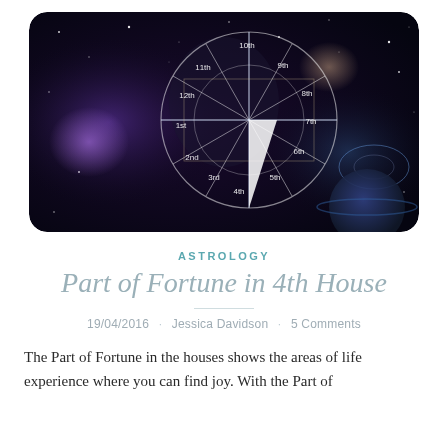[Figure (illustration): Cosmic/astrology themed illustration showing a woman's face overlaid with a circular astrological house wheel (labeled 1st through 12th houses) against a deep space background with galaxies, stars, planets, and nebulae in blues and purples. A bright triangle/beam of light is visible near the center of the wheel.]
ASTROLOGY
Part of Fortune in 4th House
19/04/2016 · Jessica Davidson · 5 Comments
The Part of Fortune in the houses shows the areas of life experience where you can find joy. With the Part of